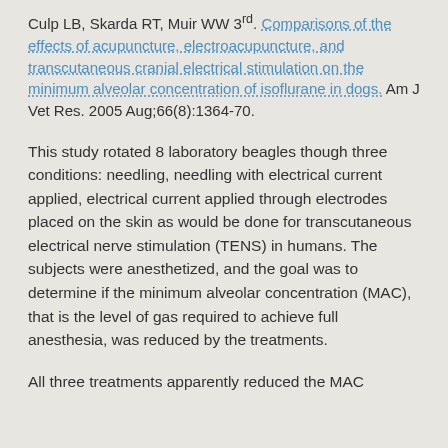Culp LB, Skarda RT, Muir WW 3rd. Comparisons of the effects of acupuncture, electroacupuncture, and transcutaneous cranial electrical stimulation on the minimum alveolar concentration of isoflurane in dogs. Am J Vet Res. 2005 Aug;66(8):1364-70.
This study rotated 8 laboratory beagles though three conditions: needling, needling with electrical current applied, electrical current applied through electrodes placed on the skin as would be done for transcutaneous electrical nerve stimulation (TENS) in humans. The subjects were anesthetized, and the goal was to determine if the minimum alveolar concentration (MAC), that is the level of gas required to achieve full anesthesia, was reduced by the treatments.
All three treatments apparently reduced the MAC